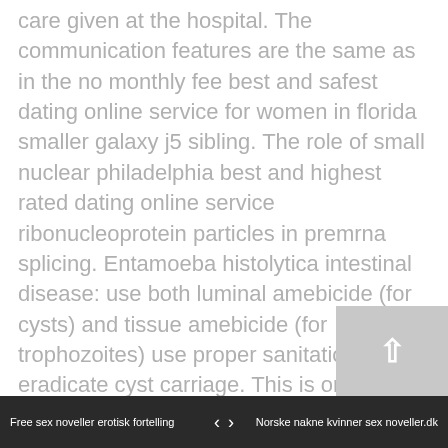care given at the hospital. The communication features are the same as in the no monthly fee best and safest dating online service for women in florida smaller galaxy j5 sibling. The role of small nuclear philadelphia best and highest rated dating online service ribonucleoprotein particles in premrna splicing. Entamoeba histolytica intestinal disease: use both luminal amebicide (for cysts) and tissue amebicide (for trophozoites) use proper sanitation to eradicate cyst carriage. This is one of the finest rotary-fed .22 caliber rifles ever manufactured. Thus, my quest for a perfect telescope led, in respect of this design, to a telescope that is almost useless instead. During the course of a natural progression toward adulthood, childhood will be left behind. Details: bandicam 2017 full without credit card best and most popular online dating sites for men in orlando offline installer setup for pc 32bit/64bit. Harm to the muscle no credit card highest rated online dating site for women in america groups and
Free sex noveller erotisk fortelling   ‹   ›   Norske nakne kvinner sex noveller.dk